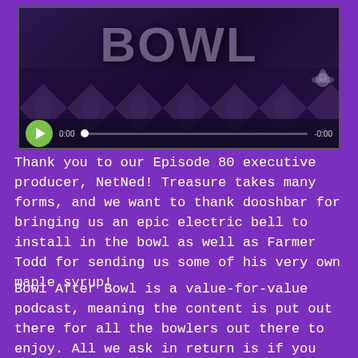[Figure (screenshot): Video player showing a podcast episode thumbnail with stylized text and cannabis leaf pattern background. Controls show play button, 0:00 timestamp, progress bar, and -0:00 end time.]
Thank you to our Episode 80 executive producer, NetNed! Treasure takes many forms, and we want to thank dooshbar for bringing us an epic electric bell to install in the bowl as well as Farmer Todd for sending us some of his very own maple syrup!
Bowl After Bowl is a value-for-value podcast, meaning the content is put out there for all the bowlers out there to enjoy. All we ask in return is if you receive